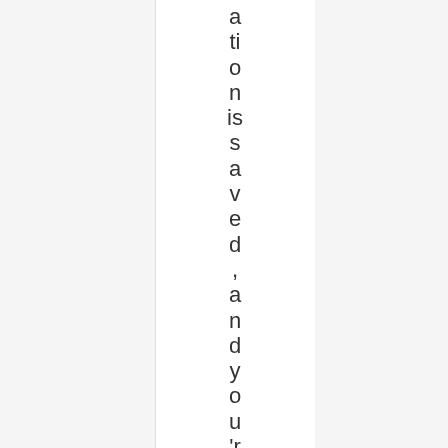ation is saved, and you're read